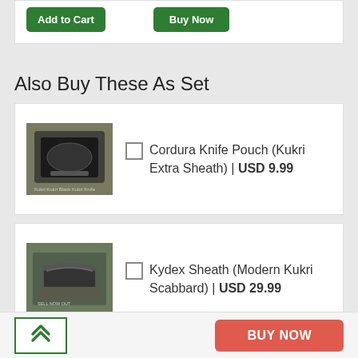[Figure (screenshot): Add to Cart and Buy Now buttons at top of page]
Also Buy These As Set
[Figure (photo): Cordura Knife Pouch product image]
Cordura Knife Pouch (Kukri Extra Sheath) | USD 9.99
[Figure (photo): Kydex Sheath product image]
Kydex Sheath (Modern Kukri Scabbard) | USD 29.99
BUY NOW